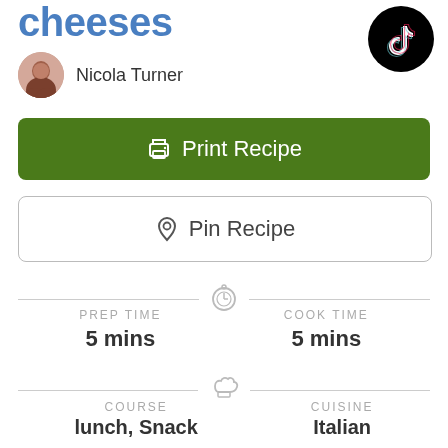cheeses
Nicola Turner
[Figure (logo): TikTok logo icon, black circle with TikTok musical note symbol]
Print Recipe
Pin Recipe
PREP TIME
5 mins
COOK TIME
5 mins
COURSE
lunch, Snack
CUISINE
Italian